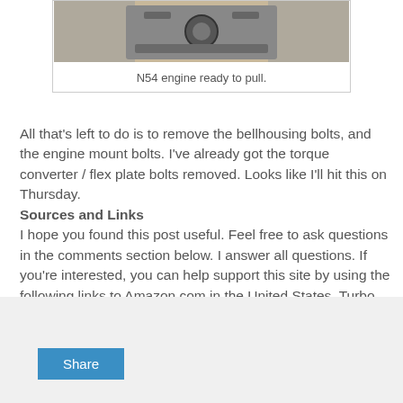[Figure (photo): N54 engine visible from above, ready to be pulled, with mechanical components exposed in an engine bay.]
N54 engine ready to pull.
All that's left to do is to remove the bellhousing bolts, and the engine mount bolts. I've already got the torque converter / flex plate bolts removed. Looks like I'll hit this on Thursday.
Sources and Links
I hope you found this post useful. Feel free to ask questions in the comments section below. I answer all questions. If you're interested, you can help support this site by using the following links to Amazon.com in the United States. Turbo parts were supplied by Turner Motorsports. Other parts were supplied by Pelican, BMW Park Avenue in Brossard, and eEuroparts.